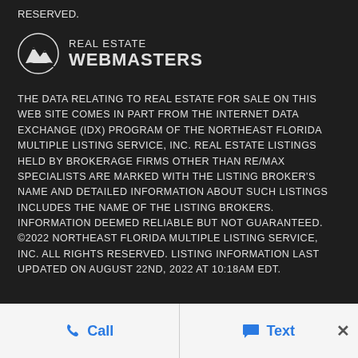RESERVED.
[Figure (logo): Real Estate Webmasters logo with mountain/wave icon and text 'REAL ESTATE WEBMASTERS']
THE DATA RELATING TO REAL ESTATE FOR SALE ON THIS WEB SITE COMES IN PART FROM THE INTERNET DATA EXCHANGE (IDX) PROGRAM OF THE NORTHEAST FLORIDA MULTIPLE LISTING SERVICE, INC. REAL ESTATE LISTINGS HELD BY BROKERAGE FIRMS OTHER THAN RE/MAX SPECIALISTS ARE MARKED WITH THE LISTING BROKER'S NAME AND DETAILED INFORMATION ABOUT SUCH LISTINGS INCLUDES THE NAME OF THE LISTING BROKERS. INFORMATION DEEMED RELIABLE BUT NOT GUARANTEED. ©2022 NORTHEAST FLORIDA MULTIPLE LISTING SERVICE, INC. ALL RIGHTS RESERVED. LISTING INFORMATION LAST UPDATED ON AUGUST 22ND, 2022 AT 10:18AM EDT.
Call   Text   ×